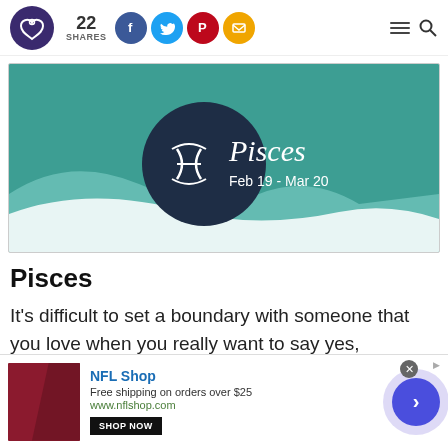22 SHARES [social icons: Facebook, Twitter, Pinterest, Email] [hamburger menu] [search]
[Figure (illustration): Teal/green banner with Pisces zodiac sign — dark navy circle with fish symbol (two curved lines) on left, cursive 'Pisces' text on right, 'Feb 19 - Mar 20' subtitle below, soft wave shapes in lighter teal at bottom]
Pisces
It's difficult to set a boundary with someone that you love when you really want to say yes,
[Figure (infographic): Advertisement banner: NFL Shop ad — red product image on left, 'NFL Shop' title in blue, 'Free shipping on orders over $25', 'www.nflshop.com', 'SHOP NOW' button, close X button, blue arrow navigation button on right with purple circle background]